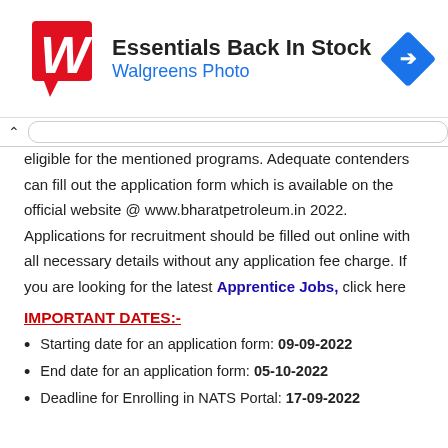[Figure (screenshot): Walgreens Photo advertisement banner with logo and 'Essentials Back In Stock' heading]
eligible for the mentioned programs. Adequate contenders can fill out the application form which is available on the official website @ www.bharatpetroleum.in 2022. Applications for recruitment should be filled out online with all necessary details without any application fee charge. If you are looking for the latest Apprentice Jobs, click here
IMPORTANT DATES:-
Starting date for an application form: 09-09-2022
End date for an application form: 05-10-2022
Deadline for Enrolling in NATS Portal: 17-09-2022